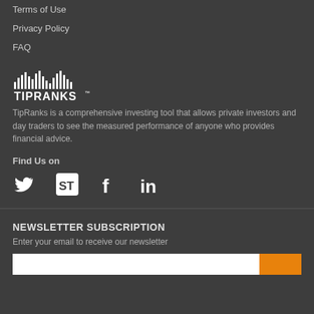Terms of Use
Privacy Policy
FAQ
[Figure (logo): TipRanks logo with bar chart graphic and wordmark with TM symbol]
TipRanks is a comprehensive investing tool that allows private investors and day traders to see the measured performance of anyone who provides financial advice.
Find Us on
[Figure (infographic): Social media icons: Twitter bird, ST square icon, Facebook f, LinkedIn in]
NEWSLETTER SUBSCRIPTION
Enter your email to receive our newsletter